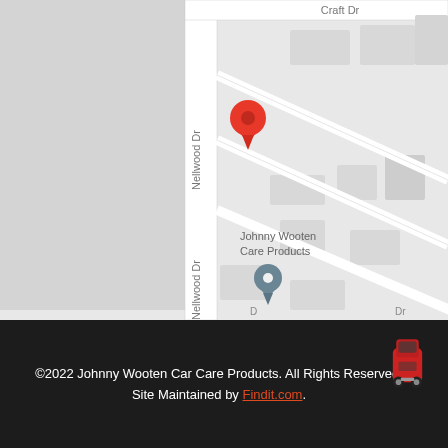[Figure (map): Google Maps view showing Nellwood Dr and Craft Dr intersection area, with a red location pin marker and a gray secondary pin labeled Johnny Wooten Care Products]
©2022 Johnny Wooten Car Care Products. All Rights Reserved. Site Maintained by Findit.com.